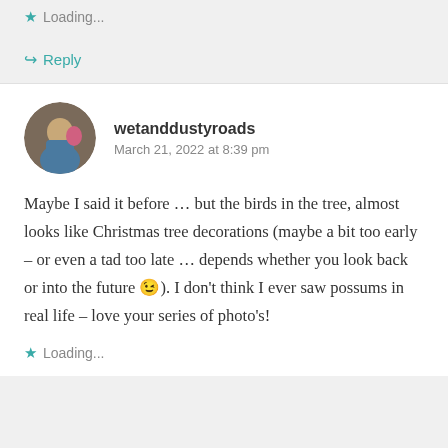Loading...
↪ Reply
wetanddustyroads
March 21, 2022 at 8:39 pm
Maybe I said it before … but the birds in the tree, almost looks like Christmas tree decorations (maybe a bit too early – or even a tad too late … depends whether you look back or into the future 😉). I don't think I ever saw possums in real life – love your series of photo's!
Loading...